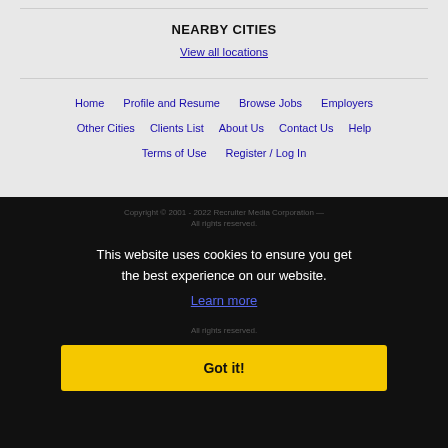NEARBY CITIES
View all locations
Home
Profile and Resume
Browse Jobs
Employers
Other Cities
Clients List
About Us
Contact Us
Help
Terms of Use
Register / Log In
Copyright © 2001 - 2022 Recruiter Media Corporation - All rights reserved.
This website uses cookies to ensure you get the best experience on our website.
Learn more
Got it!